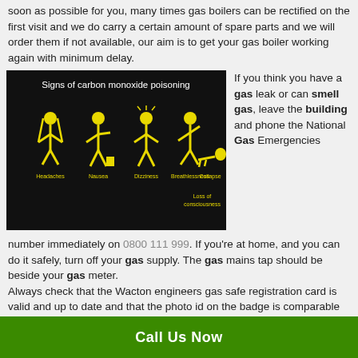soon as possible for you, many times gas boilers can be rectified on the first visit and we do carry a certain amount of spare parts and we will order them if not available, our aim is to get your gas boiler working again with minimum delay.
[Figure (infographic): Signs of carbon monoxide poisoning infographic on black background with yellow stick figures showing: Headaches, Nausea, Dizziness, Breathlessness, Collapse, Loss of consciousness]
If you think you have a gas leak or can smell gas, leave the building and phone the National Gas Emergencies number immediately on 0800 111 999. If you're at home, and you can do it safely, turn off your gas supply. The gas mains tap should be beside your gas meter.
Always check that the Wacton engineers gas safe registration card is valid and up to date and that the photo id on the badge is comparable before he works on your gas boiler or appliance.
Call Us Now